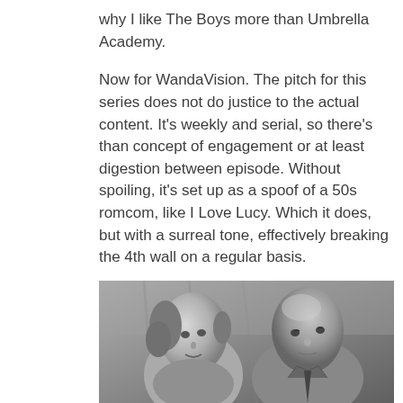why I like The Boys more than Umbrella Academy.
Now for WandaVision. The pitch for this series does not do justice to the actual content. It’s weekly and serial, so there’s than concept of engagement or at least digestion between episode. Without spoiling, it’s set up as a spoof of a 50s romcom, like I Love Lucy. Which it does, but with a surreal tone, effectively breaking the 4th wall on a regular basis.
[Figure (photo): Black and white still from WandaVision showing a woman with curly hair and a bald man in a suit looking upward, styled in a 1950s TV show aesthetic.]